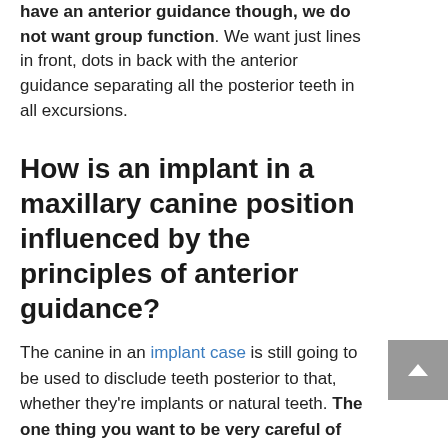have an anterior guidance though, we do not want group function. We want just lines in front, dots in back with the anterior guidance separating all the posterior teeth in all excursions.
How is an implant in a maxillary canine position influenced by the principles of anterior guidance?
The canine in an implant case is still going to be used to disclude teeth posterior to that, whether they're implants or natural teeth. The one thing you want to be very careful of when you're using a canine implant is that it wants to be as flat as you can make it in the lateral excursion. And if you can bring in natural teeth to help in lateral excursions, you would want to do that.